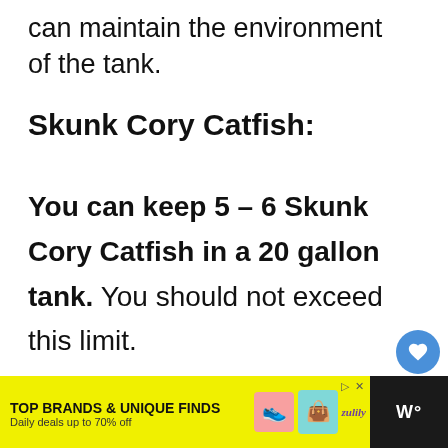can maintain the environment of the tank.
Skunk Cory Catfish:
You can keep 5 – 6 Skunk Cory Catfish in a 20 gallon tank. You should not exceed this limit.
[Figure (screenshot): Website UI sidebar with heart/like button (blue circle, count of 1) and share button (gray circle)]
[Figure (screenshot): What's Next panel showing a dog photo thumbnail and text: WHAT'S NEXT → Are Plumerias Poisonous t...]
[Figure (screenshot): Yellow advertisement bar: TOP BRANDS & UNIQUE FINDS, Daily deals up to 70% off, Zulily branding, with shoe and bag images, and dark panel on right with W° logo]